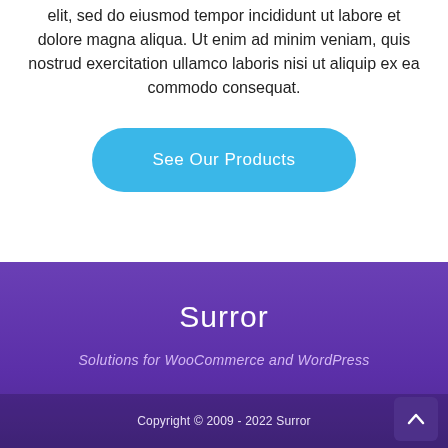elit, sed do eiusmod tempor incididunt ut labore et dolore magna aliqua. Ut enim ad minim veniam, quis nostrud exercitation ullamco laboris nisi ut aliquip ex ea commodo consequat.
See Our Products
Surror
Solutions for WooCommerce and WordPress
Copyright © 2009 - 2022 Surror